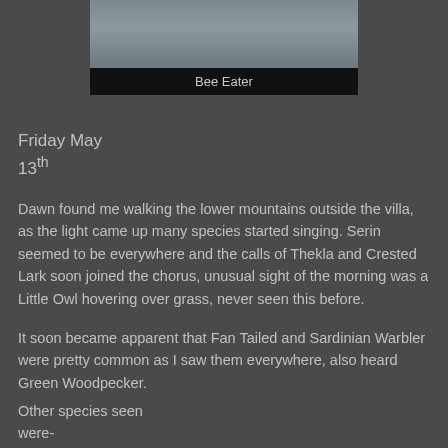[Figure (photo): Partial photo of a Bee Eater bird, showing blurred greyish-blue background, cut off at top]
Bee Eater
Friday May
13th
Dawn found me walking the lower mountains outside the villa, as the light came up many species started singing. Serin seemed to be everywhere and the calls of Thekla and Crested Lark soon joined the chorus, unusual sight of the morning was a Little Owl hovering over grass, never seen this before.
It soon became apparent that Fan Tailed and Sardinian Warbler were pretty common as I saw them everywhere, also heard Green Woodpecker.
Other species seen
were-